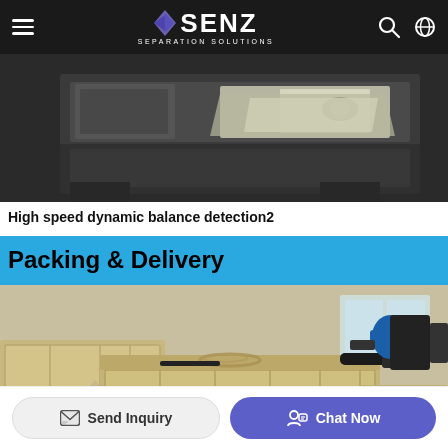SENZ SEPARATION SOLUTIONS
[Figure (photo): High speed dynamic balance detection machine — industrial CNC/lathe equipment in a factory setting, partial top view]
High speed dynamic balance detection2
Packing & Delivery
[Figure (photo): Wooden crates/boxes in a warehouse with SENZ Separation Solutions branding watermark, machinery packed for delivery, ropes and equipment on top of crates]
Send Inquiry
Chat Now